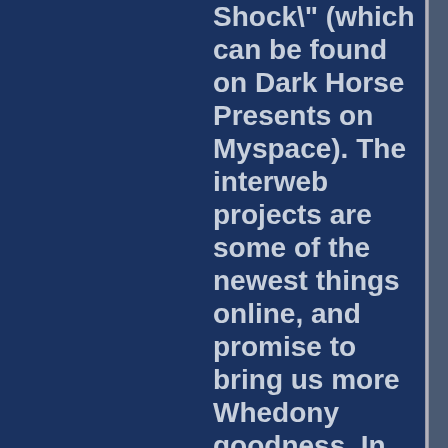Shock\" (which can be found on Dark Horse Presents on Myspace). The interweb projects are some of the newest things online, and promise to bring us more Whedony goodness. In other updates, he's